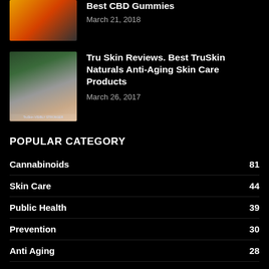[Figure (photo): Product image thumbnail for CBD Gummies article]
Best CBD Gummies
March 21, 2018
[Figure (photo): TruSkin skincare product advertisement image with woman's face]
Tru Skin Reviews. Best TruSkin Naturals Anti-Aging Skin Care Products
March 26, 2017
POPULAR CATEGORY
Cannabinoids 81
Skin Care 44
Public Health 39
Prevention 30
Anti Aging 28
Innovation 27
Lifestyle 25
Pharmacy 23